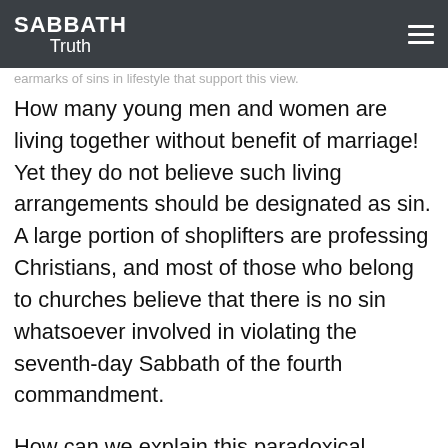SABBATH Truth
earmarks of sins in lifestyle that support this view.
How many young men and women are living together without benefit of marriage! Yet they do not believe such living arrangements should be designated as sin. A large portion of shoplifters are professing Christians, and most of those who belong to churches believe that there is no sin whatsoever involved in violating the seventh-day Sabbath of the fourth commandment.
How can we explain this paradoxical situation among those who profess such high regard for the Bible as the foundation of their conduct